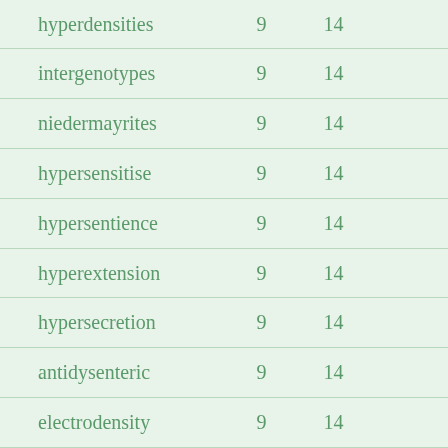| hyperdensities | 9 | 14 |
| intergenotypes | 9 | 14 |
| niedermayrites | 9 | 14 |
| hypersensitise | 9 | 14 |
| hypersentience | 9 | 14 |
| hyperextension | 9 | 14 |
| hypersecretion | 9 | 14 |
| antidysenteric | 9 | 14 |
| electrodensity | 9 | 14 |